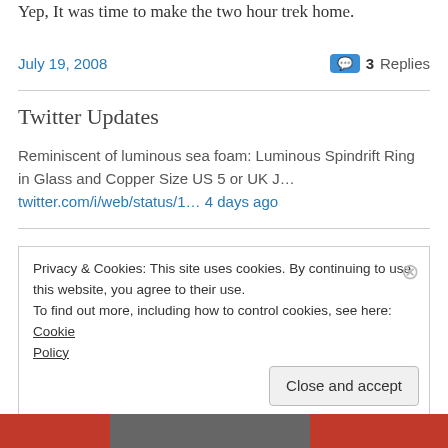Yep, It was time to make the two hour trek home.
July 19, 2008   3 Replies
Twitter Updates
Reminiscent of luminous sea foam: Luminous Spindrift Ring in Glass and Copper Size US 5 or UK J… twitter.com/i/web/status/1… 4 days ago
Privacy & Cookies: This site uses cookies. By continuing to use this website, you agree to their use.
To find out more, including how to control cookies, see here: Cookie Policy
Close and accept